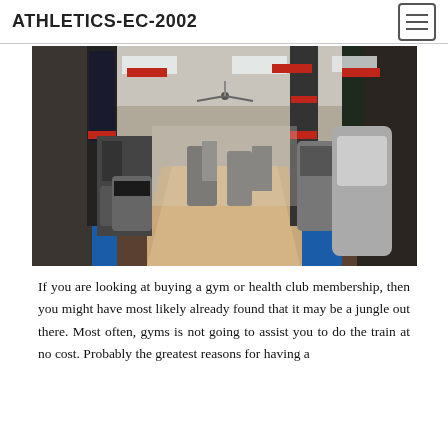ATHLETICS-EC-2002
[Figure (photo): Interior of a gym showing various exercise machines, weight equipment, blue and orange rubber flooring mats, tall columns with athletic graphics, ceiling fans, and fluorescent lighting along a central aisle.]
If you are looking at buying a gym or health club membership, then you might have most likely already found that it may be a jungle out there. Most often, gyms is not going to assist you to do the train at no cost. Probably the greatest reasons for having a